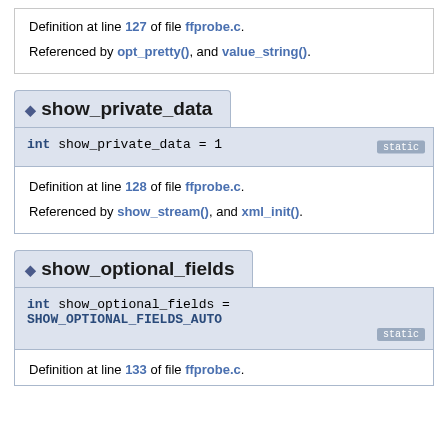Definition at line 127 of file ffprobe.c.

Referenced by opt_pretty(), and value_string().
◆ show_private_data
int show_private_data = 1  [static]
Definition at line 128 of file ffprobe.c.

Referenced by show_stream(), and xml_init().
◆ show_optional_fields
int show_optional_fields =
SHOW_OPTIONAL_FIELDS_AUTO  [static]
Definition at line 133 of file ffprobe.c.